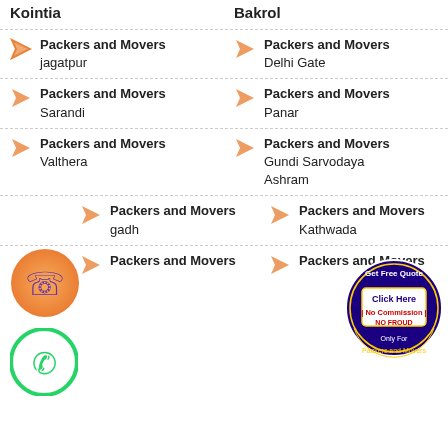Kointia
Bakrol
Packers and Movers jagatpur
Packers and Movers Delhi Gate
Packers and Movers Sarandi
Packers and Movers Panar
Packers and Movers Valthera
Packers and Movers Gundi Sarvodaya Ashram
Packers and Movers gadh
Packers and Movers Kathwada
Packers and Movers
Packers and Movers